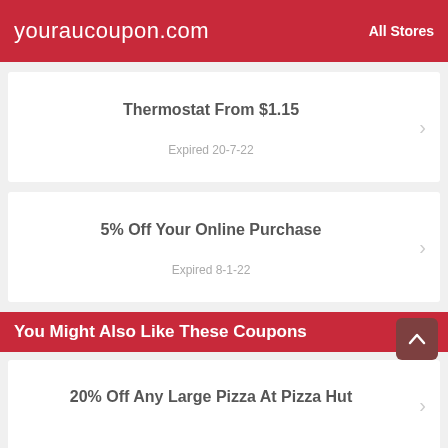youraucoupon.com   All Stores
Thermostat From $1.15
Expired 20-7-22
5% Off Your Online Purchase
Expired 8-1-22
You Might Also Like These Coupons
20% Off Any Large Pizza At Pizza Hut